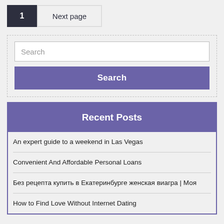1  Next page
Search
Search
Recent Posts
An expert guide to a weekend in Las Vegas
Convenient And Affordable Personal Loans
Без рецепта купить в Екатеринбурге женская виагра | Моя
How to Find Love Without Internet Dating